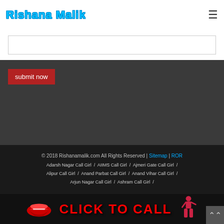Rishana Malik
[Figure (screenshot): Textarea input box, partially visible]
submit now
© 2018 Rishanamalik.com All Rights Reserved | Sitemap | ROR
Adarsh Nagar Call Girl  /  AIIMS Call Girl  /  Ajmeri Gate Call Girl  /
Alipur Call Girl  /  Anand Parbat Call Girl  /  Anand Vihar Call Girl  /
Arjun Nagar Call Girl  /  Ashram Call Girl  /
[Figure (infographic): CLICK TO CALL banner with red lips and figure illustration]